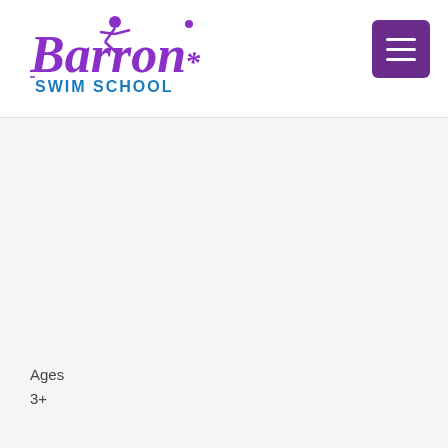[Figure (logo): Barron Swim School logo with stylized cursive 'Barron' text in purple and 'SWIM SCHOOL' in blue, with a small figure icon]
[Figure (other): Purple hamburger menu button with three white horizontal lines]
Ages
3+
Junior Program - Ages 3 & Older